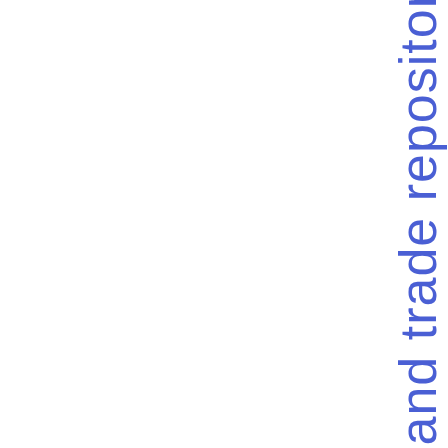s on Regulation (EU) 648/2012 on OTC derivatives, central counterparties and trade repositor